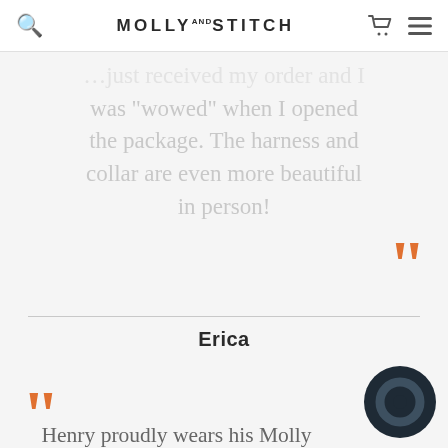MOLLY AND STITCH
...just received my order and I was "wowed" when I opened the package. The harness and collar are even more beautiful in person!
Erica
Henry proudly wears his Molly and stitch collar! We love the